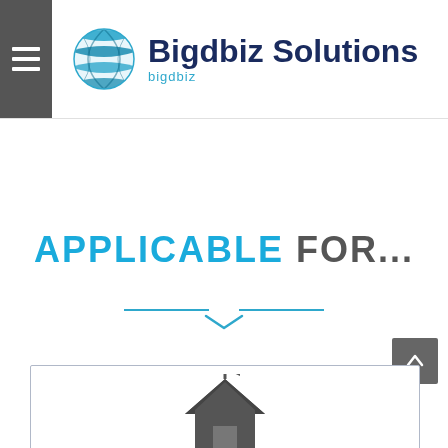Bigdbiz Solutions
APPLICABLE FOR...
[Figure (illustration): Decorative chevron/arrow divider below the APPLICABLE FOR heading, with two horizontal lines and a downward-pointing chevron in blue]
[Figure (illustration): Card section at the bottom with a partially visible house/real estate icon in dark gray]
[Figure (illustration): Dark gray back-to-top button with upward arrow in lower right]